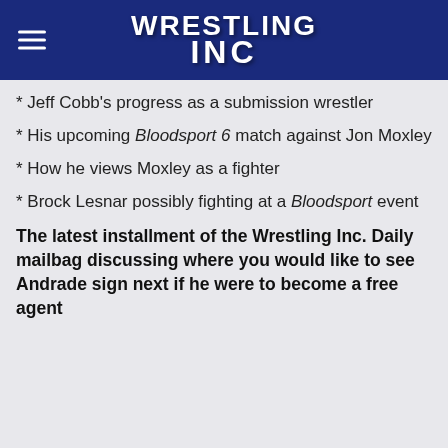Wrestling Inc
* Jeff Cobb's progress as a submission wrestler
* His upcoming Bloodsport 6 match against Jon Moxley
* How he views Moxley as a fighter
* Brock Lesnar possibly fighting at a Bloodsport event
The latest installment of the Wrestling Inc. Daily mailbag discussing where you would like to see Andrade sign next if he were to become a free agent